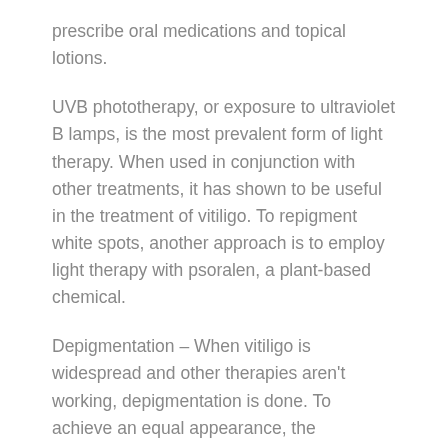prescribe oral medications and topical lotions.
UVB phototherapy, or exposure to ultraviolet B lamps, is the most prevalent form of light therapy. When used in conjunction with other treatments, it has shown to be useful in the treatment of vitiligo. To repigment white spots, another approach is to employ light therapy with psoralen, a plant-based chemical.
Depigmentation – When vitiligo is widespread and other therapies aren't working, depigmentation is done. To achieve an equal appearance, the unaffected parts of the skin are lightened with a depigmenting chemical.
Skin grafting is the most common surgical treatment for acrofacial vitiligo. This procedure involves removing portions of healthy skin and using them to fill little white areas on the hands or face. Another